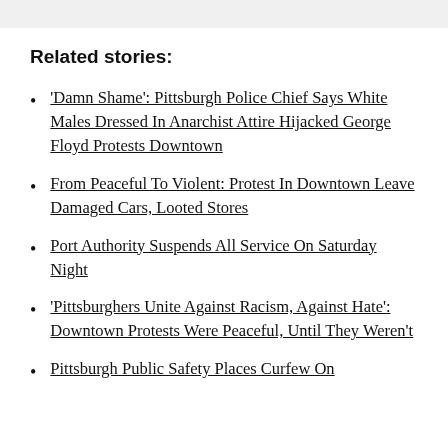Related stories:
'Damn Shame': Pittsburgh Police Chief Says White Males Dressed In Anarchist Attire Hijacked George Floyd Protests Downtown
From Peaceful To Violent: Protest In Downtown Leave Damaged Cars, Looted Stores
Port Authority Suspends All Service On Saturday Night
'Pittsburghers Unite Against Racism, Against Hate': Downtown Protests Were Peaceful, Until They Weren't
Pittsburgh Public Safety Places Curfew On